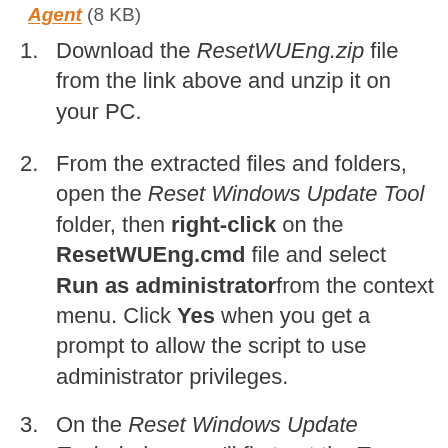Agent (8 KB)
Download the ResetWUEng.zip file from the link above and unzip it on your PC.
From the extracted files and folders, open the Reset Windows Update Tool folder, then right-click on the ResetWUEng.cmd file and select Run as administrator from the context menu. Click Yes when you get a prompt to allow the script to use administrator privileges.
On the Reset Windows Update Tool window, you'll first get the Terms and Conditions screen. Accept the terms by